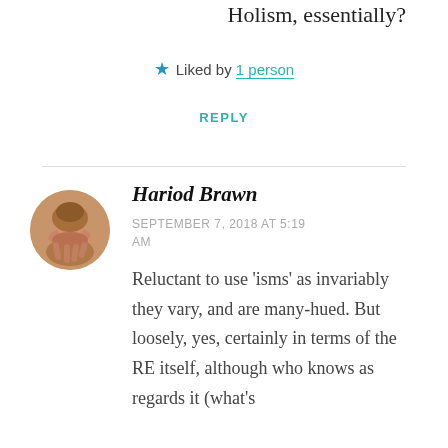Holism, essentially?
★ Liked by 1 person
REPLY
Hariod Brawn
SEPTEMBER 7, 2018 AT 5:19 AM
Reluctant to use 'isms' as invariably they vary, and are many-hued. But loosely, yes, certainly in terms of the RE itself, although who knows as regards it (what's